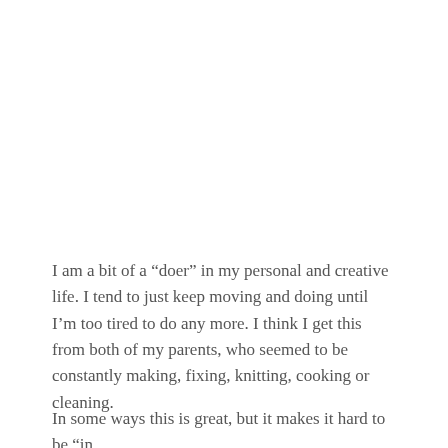I am a bit of a “doer” in my personal and creative life. I tend to just keep moving and doing until I’m too tired to do any more. I think I get this from both of my parents, who seemed to be constantly making, fixing, knitting, cooking or cleaning.
In some ways this is great, but it makes it hard to be “in